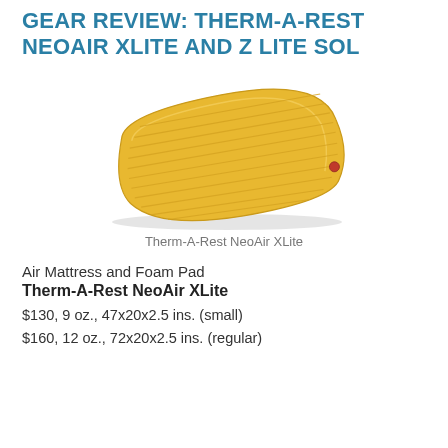GEAR REVIEW: THERM-A-REST NEOAIR XLITE AND Z LITE SOL
[Figure (photo): Yellow inflatable sleeping pad (Therm-A-Rest NeoAir XLite) shown at a slight angle, with horizontal ribbed texture and a small red valve on one end.]
Therm-A-Rest NeoAir XLite
Air Mattress and Foam Pad
Therm-A-Rest NeoAir XLite
$130, 9 oz., 47x20x2.5 ins. (small)
$160, 12 oz., 72x20x2.5 ins. (regular)